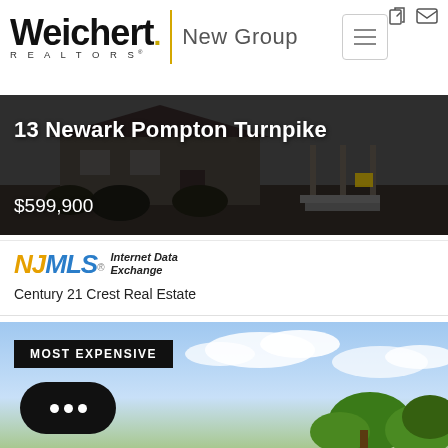[Figure (logo): Weichert Realtors New Group logo with yellow vertical divider]
[Figure (photo): House exterior photo with text overlay: 13 Newark Pompton Turnpike, $599,900]
13 Newark Pompton Turnpike
$599,900
[Figure (logo): NJMLS Internet Data Exchange logo]
Century 21 Crest Real Estate
[Figure (photo): Outdoor property photo with sky and trees, Most Expensive badge]